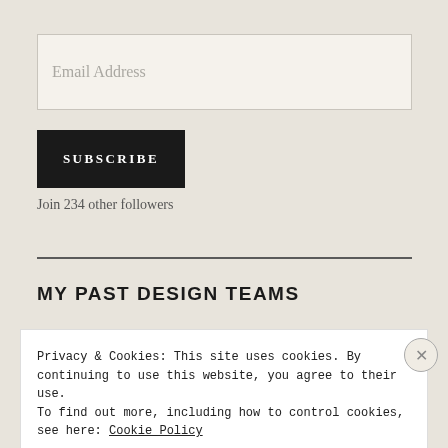Email Address
SUBSCRIBE
Join 234 other followers
MY PAST DESIGN TEAMS
Privacy & Cookies: This site uses cookies. By continuing to use this website, you agree to their use.
To find out more, including how to control cookies, see here: Cookie Policy
Close and accept